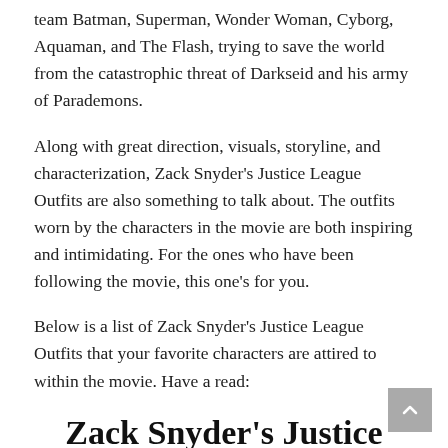team Batman, Superman, Wonder Woman, Cyborg, Aquaman, and The Flash, trying to save the world from the catastrophic threat of Darkseid and his army of Parademons.
Along with great direction, visuals, storyline, and characterization, Zack Snyder's Justice League Outfits are also something to talk about. The outfits worn by the characters in the movie are both inspiring and intimidating. For the ones who have been following the movie, this one's for you.
Below is a list of Zack Snyder's Justice League Outfits that your favorite characters are attired to within the movie. Have a read:
Zack Snyder's Justice League Costumes